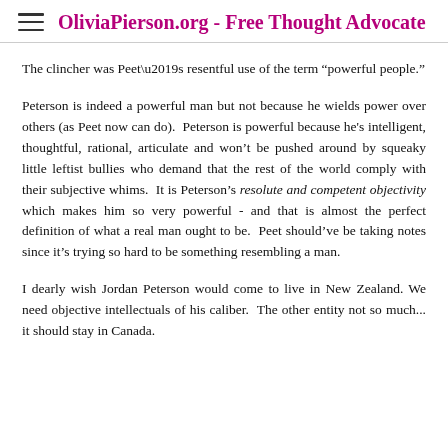OliviaPierson.org - Free Thought Advocate
The clincher was Peet’s resentful use of the term “powerful people.”
Peterson is indeed a powerful man but not because he wields power over others (as Peet now can do). Peterson is powerful because he's intelligent, thoughtful, rational, articulate and won’t be pushed around by squeaky little leftist bullies who demand that the rest of the world comply with their subjective whims. It is Peterson’s resolute and competent objectivity which makes him so very powerful - and that is almost the perfect definition of what a real man ought to be. Peet should’ve be taking notes since it’s trying so hard to be something resembling a man.
I dearly wish Jordan Peterson would come to live in New Zealand. We need objective intellectuals of his caliber. The other entity not so much... it should stay in Canada.